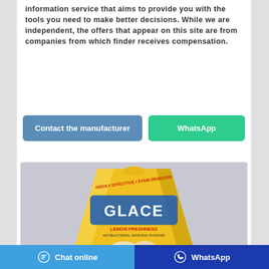information service that aims to provide you with the tools you need to make better decisions. While we are independent, the offers that appear on this site are from companies from which finder receives compensation.
[Figure (other): Two call-to-action buttons: 'Contact the manufacturer' (blue/steel) and 'WhatsApp' (green)]
[Figure (photo): Product photo of a yellow bag of Glace Lemon Freshness detergent/washing powder on a grey background]
Chat online | WhatsApp